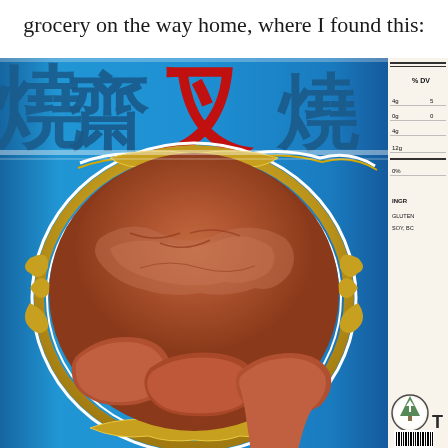grocery on the way home, where I found this:
[Figure (photo): Close-up photo of a blue can with Chinese characters (齋叉燒 - vegetarian char siu) in red and dark colors. The can features an ornate gold decorative border around a circular image showing pieces of reddish-brown processed meat/mock meat. The can appears to be stacked with similar cans; a partial nutrition facts label is visible on the right side. A small circular logo is visible in the bottom right corner.]